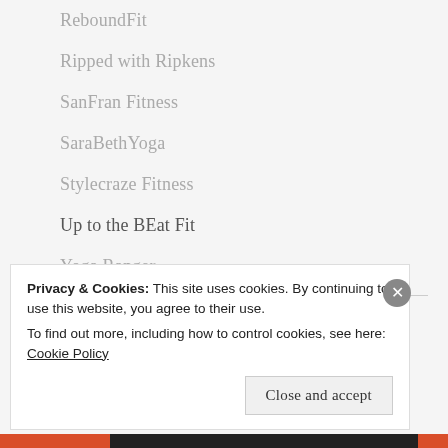ReboundFit
Ripped with Ripkens
SanFran Fitness
SaraBethYoga
Stylecraze Fitness
Up to the BEat Fit
Yoga Ranger
Trainers
Adam Rosante
Privacy & Cookies: This site uses cookies. By continuing to use this website, you agree to their use.
To find out more, including how to control cookies, see here: Cookie Policy
Close and accept